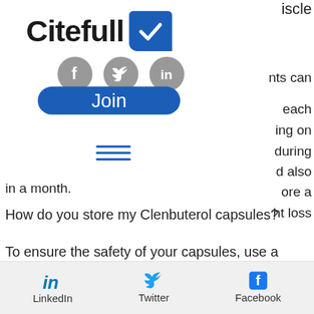[Figure (logo): Citefull logo with checkmark in blue speech bubble box, followed by three social media icons (Facebook, Twitter, LinkedIn) in gray circles, and a Join button below]
iscle
nts can
each
ing on
during
d also
ore a
ht loss
in a month.
How do you store my Clenbuterol capsules?
To ensure the safety of your capsules, use a food grade (GMO) capsule. Always take your
[Figure (infographic): Bottom share bar with LinkedIn, Twitter, and Facebook share icons]